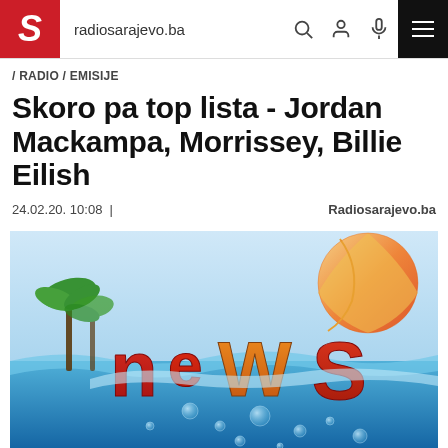radiosarajevo.ba
/ RADIO / EMISIJE
Skoro pa top lista - Jordan Mackampa, Morrissey, Billie Eilish
24.02.20. 10:08  |  Radiosarajevo.ba
[Figure (illustration): Promotional image showing the word 'news' in large colorful 3D letters partially submerged in water with bubbles, palm trees in background, and a beach ball in the upper right corner.]